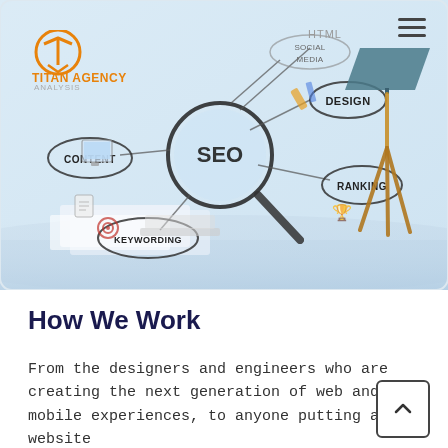[Figure (screenshot): Hero banner image showing a desk scene with SEO concept illustration overlaid. The illustration shows a magnifying glass with 'SEO' text at center, connected to bubbles labeled: CONTENT, DESIGN, RANKING, KEYWORDING, SOCIAL MEDIA, HTML. A desk lamp with wooden tripod legs is visible on the right side. Titan Agency logo with orange circular icon is in the top left. A hamburger menu icon is in the top right.]
How We Work
From the designers and engineers who are creating the next generation of web and mobile experiences, to anyone putting a website